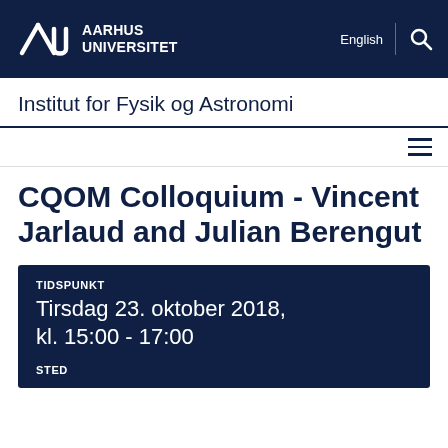[Figure (logo): Aarhus Universitet logo with stylized AU mark and text AARHUS UNIVERSITET in white on dark navy background, with English language link and search icon on right]
Institut for Fysik og Astronomi
CQOM Colloquium - Vincent Jarlaud and Julian Berengut
TIDSPUNKT
Tirsdag 23. oktober 2018, kl. 15:00 - 17:00

STED